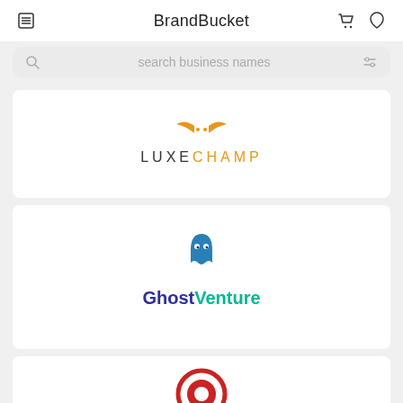BrandBucket
search business names
[Figure (logo): LuxeChamp logo with orange wing-like icon above text LUXECHAMP in black and orange]
[Figure (logo): GhostVenture logo with teal ghost icon above text GhostVenture in dark blue and teal]
[Figure (logo): Partially visible logo at bottom of page]